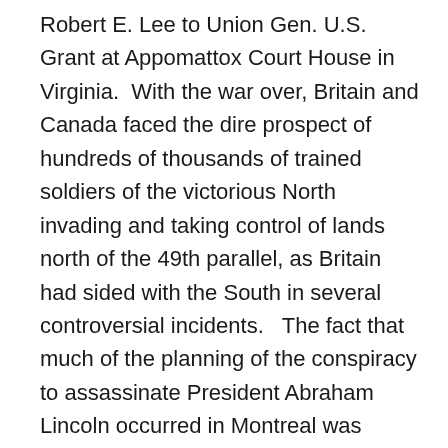Robert E. Lee to Union Gen. U.S. Grant at Appomattox Court House in Virginia.  With the war over, Britain and Canada faced the dire prospect of hundreds of thousands of trained soldiers of the victorious North invading and taking control of lands north of the 49th parallel, as Britain had sided with the South in several controversial incidents.   The fact that much of the planning of the conspiracy to assassinate President Abraham Lincoln occurred in Montreal was another reason to worry about American retaliation against Canada.  As it turned out, the only incursions from the U.S. were the small, poorly-organized Fenian Raids in Ontario and New Brunswick of groups of Irish-American soldiers aiming to strike at Britain – who they saw as oppressing their native Ireland – by attacking Canada.  The fear of invasion from the United States was a key reason that British North American